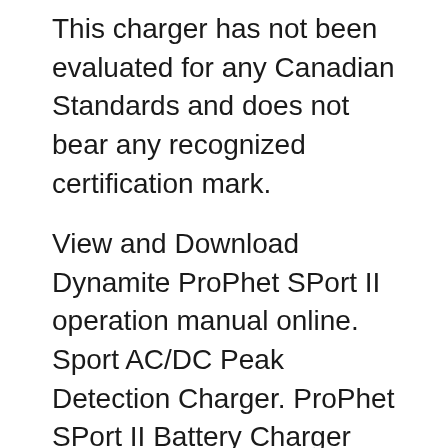This charger has not been evaluated for any Canadian Standards and does not bear any recognized certification mark.
View and Download Dynamite ProPhet SPort II operation manual online. Sport AC/DC Peak Detection Charger. ProPhet SPort II Battery Charger pdf manual download. Also for: Prophet sport ii. Prophet Sport Mini 50W Multichemistry Charger has been added successfully to your wishlist. Prophet Sport Mini 50W Multichemistry Charger The Prophet Sport Mini charger is an affordable and versatile AC powered charger that can be used to charge car, truck, boat, aircraft and quad batteries.
Prophet Sport Quad 4 X 100W AC/DC Charger